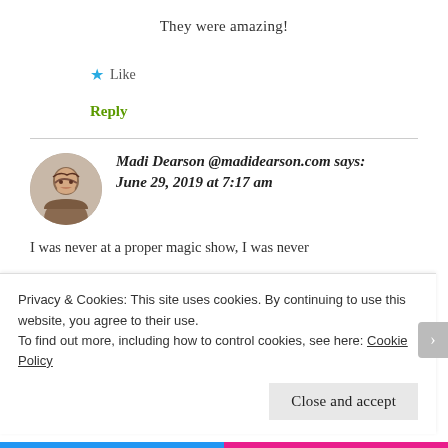They were amazing!
★ Like
Reply
Madi Dearson @madidearson.com says:
June 29, 2019 at 7:17 am
I was never at a proper magic show, I was never
Privacy & Cookies: This site uses cookies. By continuing to use this website, you agree to their use.
To find out more, including how to control cookies, see here: Cookie Policy
Close and accept